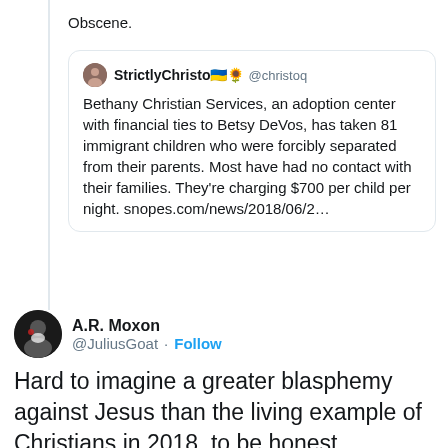Obscene.
[Figure (screenshot): Quoted tweet from @christoq (StrictlyChristo with Ukrainian flag and sunflower emojis): 'Bethany Christian Services, an adoption center with financial ties to Betsy DeVos, has taken 81 immigrant children who were forcibly separated from their parents. Most have had no contact with their families. They're charging $700 per child per night. snopes.com/news/2018/06/2...']
A.R. Moxon
@JuliusGoat · Follow
Hard to imagine a greater blasphemy against Jesus than the living example of Christians in 2018, to be honest.
11:44 PM · Jul 8, 2018
231   Reply   Copy link